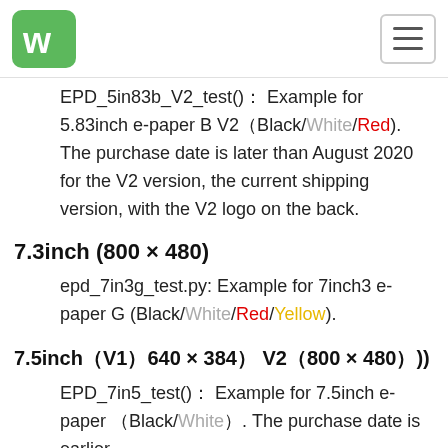Waveshare logo and navigation
EPD_5in83b_V2_test()： Example for 5.83inch e-paper B V2（Black/White/Red). The purchase date is later than August 2020 for the V2 version, the current shipping version, with the V2 logo on the back.
7.3inch (800 × 480)
epd_7in3g_test.py: Example for 7inch3 e-paper G (Black/White/Red/Yellow).
7.5inch（V1）640 × 384） V2（800 × 480）)
EPD_7in5_test()： Example for 7.5inch e-paper （Black/White）. The purchase date is earlier